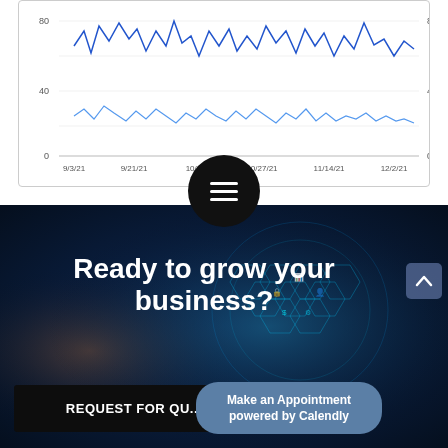[Figure (continuous-plot): Time-series line chart showing two data series (blue lines) from 9/3/21 to 12/2/21. Left y-axis ranges from 0 to 80+, right y-axis from 0 to 800+. X-axis labels: 9/3/21, 9/21/21, 10/9/21, 10/27/21, 11/14/21, 12/2/21.]
[Figure (screenshot): Black circular menu button with three horizontal white lines (hamburger icon) overlapping the bottom of the chart and top of the dark section.]
[Figure (photo): Dark blue technology background with glowing hexagonal globe/sphere covered in digital icons (WiFi, lock, chart, people, dollar, etc.) with a hand pointing at it, and bokeh light effects.]
Ready to grow your business?
REQUEST FOR QU...
Make an Appointment powered by Calendly